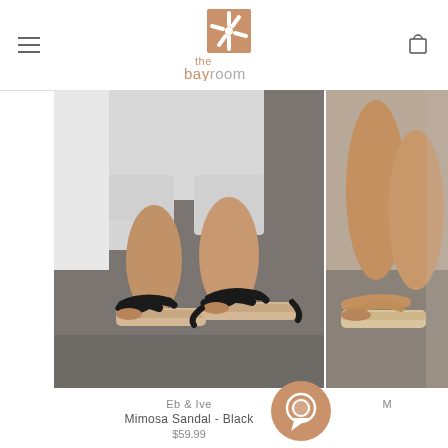[Figure (logo): The Bay Room logo — starfish icon on terracotta square background with 'the bayroom' text below]
[Figure (photo): Close-up photo of feet wearing black cross-strap espadrille platform sandals (Eb & Ive Mimosa Sandal in Black), model wearing white pants, standing on grey concrete floor]
[Figure (photo): Partial photo of second product sandal on right side of page — tan/nude colored sandal on similar espadrille platform]
Eb & Ive
Mimosa Sandal - Black
$59.99